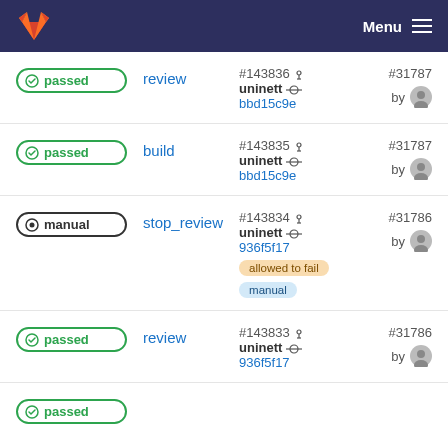GitLab navigation bar with Menu
passed | review | #143836 uninett bbd15c9e | #31787 by user
passed | build | #143835 uninett bbd15c9e | #31787 by user
manual | stop_review | #143834 uninett 936f5f17 | allowed to fail | manual | #31786 by user
passed | review | #143833 uninett 936f5f17 | #31786 by user
passed (partial)